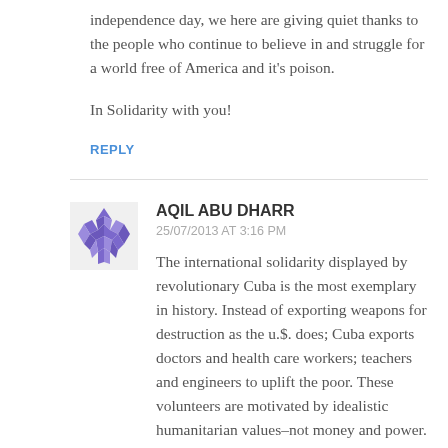independence day, we here are giving quiet thanks to the people who continue to believe in and struggle for a world free of America and it's poison.
In Solidarity with you!
REPLY
AQIL ABU DHARR
25/07/2013 AT 3:16 PM
The international solidarity displayed by revolutionary Cuba is the most exemplary in history. Instead of exporting weapons for destruction as the u.$. does; Cuba exports doctors and health care workers; teachers and engineers to uplift the poor. These volunteers are motivated by idealistic humanitarian values–not money and power. Cuba educates doctors and health care workers without